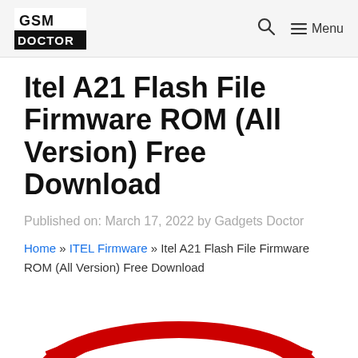GSM DOCTOR | Menu
Itel A21 Flash File Firmware ROM (All Version) Free Download
Published on: March 17, 2022 by Gadgets Doctor
Home » ITEL Firmware » Itel A21 Flash File Firmware ROM (All Version) Free Download
[Figure (photo): Partial image of Itel logo/branding at the bottom of the page]